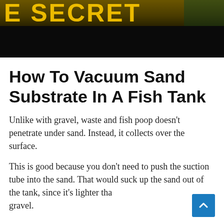[Figure (photo): Partial banner image showing the word 'SECRET' in large yellow letters on a dark background with nature imagery]
How To Vacuum Sand Substrate In A Fish Tank
Unlike with gravel, waste and fish poop doesn't penetrate under sand. Instead, it collects over the surface.
This is good because you don't need to push the suction tube into the sand. That would suck up the sand out of the tank, since it's lighter than gravel.